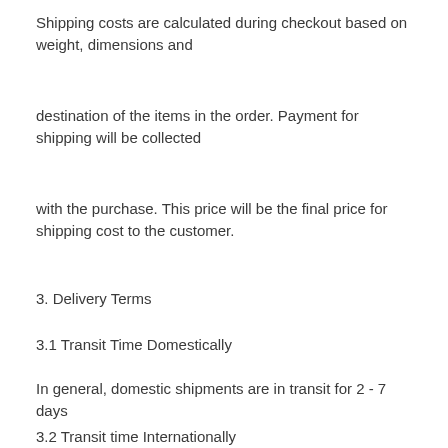Shipping costs are calculated during checkout based on weight, dimensions and
destination of the items in the order. Payment for shipping will be collected
with the purchase. This price will be the final price for shipping cost to the customer.
3. Delivery Terms
3.1 Transit Time Domestically
In general, domestic shipments are in transit for 2 - 7 days
3.2 Transit time Internationally